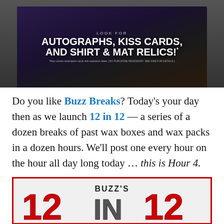[Figure (photo): Product box image showing WWE Divas Revolution with text overlay: LOOK FOR AUTOGRAPHS, KISS CARDS, AND SHIRT & MAT RELICS! with small disclaimer text below]
Do you like Buzz Breaks? Today’s your day then as we launch 12 in 12 — a series of a dozen breaks of past wax boxes and wax packs in a dozen hours. We’ll post one every hour on the hour all day long today … this is Hour 4.
[Figure (logo): Buzz's 12 IN 12 logo with large red numerals 12 on each side and dark gray IN in the center, BUZZ'S text above]
The box: 2016 Topps WWE Divas Revolution
The cost: Click here